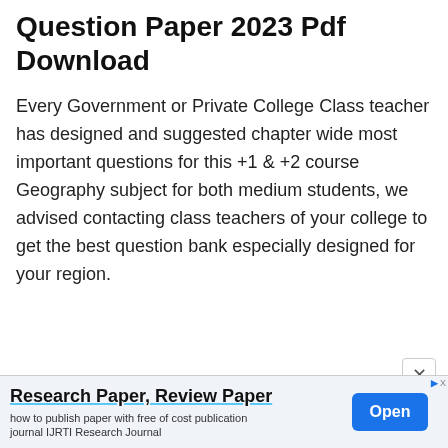Question Paper 2023 Pdf Download
Every Government or Private College Class teacher has designed and suggested chapter wide most important questions for this +1 & +2 course Geography subject for both medium students, we advised contacting class teachers of your college to get the best question bank especially designed for your region.
[Figure (screenshot): Advertisement banner: Research Paper, Review Paper — how to publish paper with free of cost publication journal IJRTI Research Journal. Open button on right side.]